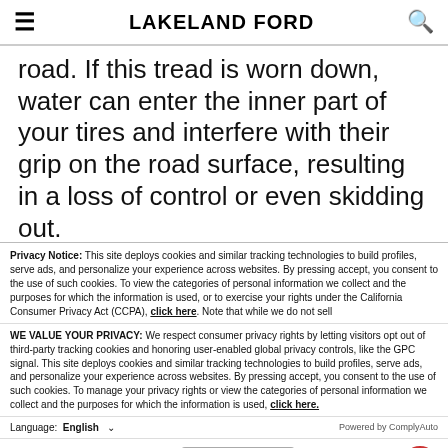LAKELAND FORD
road. If this tread is worn down, water can enter the inner part of your tires and interfere with their grip on the road surface, resulting in a loss of control or even skidding out.
8: Four-Wheel Drives
This one might not be a surprise to you! A 4-
Privacy Notice: This site deploys cookies and similar tracking technologies to build profiles, serve ads, and personalize your experience across websites. By pressing accept, you consent to the use of such cookies. To view the categories of personal information we collect and the purposes for which the information is used, or to exercise your rights under the California Consumer Privacy Act (CCPA), click here. Note that while we do not sell
WE VALUE YOUR PRIVACY: We respect consumer privacy rights by letting visitors opt out of third-party tracking cookies and honoring user-enabled global privacy controls, like the GPC signal. This site deploys cookies and similar tracking technologies to build profiles, serve ads, and personalize your experience across websites. By pressing accept, you consent to the use of such cookies. To manage your privacy rights or view the categories of personal information we collect and the purposes for which the information is used, click here.
Language: English ∨  Powered by ComplyAuto
Accept and Continue →   Privacy Policy